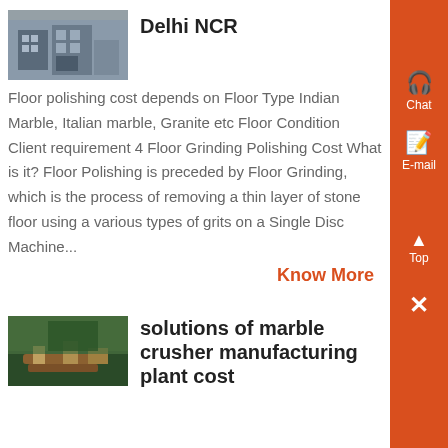[Figure (photo): Industrial construction materials photo, top-left article image]
Delhi NCR
Floor polishing cost depends on Floor Type Indian Marble, Italian marble, Granite etc Floor Condition Client requirement 4 Floor Grinding Polishing Cost What is it? Floor Polishing is preceded by Floor Grinding, which is the process of removing a thin layer of stone floor using a various types of grits on a Single Disc Machine...
Know More
[Figure (photo): Marble crusher manufacturing plant image, bottom article image]
solutions of marble crusher manufacturing plant cost